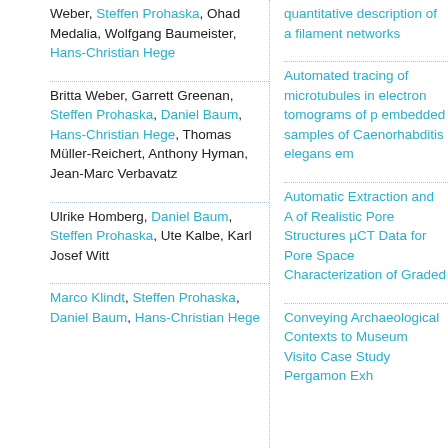Weber, Steffen Prohaska, Ohad Medalia, Wolfgang Baumeister, Hans-Christian Hege
quantitative description of a filament networks
Britta Weber, Garrett Greenan, Steffen Prohaska, Daniel Baum, Hans-Christian Hege, Thomas Müller-Reichert, Anthony Hyman, Jean-Marc Verbavatz
Automated tracing of microtubules in electron tomograms of plastic embedded samples of Caenorhabditis elegans embryos
Ulrike Homberg, Daniel Baum, Steffen Prohaska, Ute Kalbe, Karl Josef Witt
Automatic Extraction and Analysis of Realistic Pore Structures from µCT Data for Pore Space Characterization of Graded
Marco Klindt, Steffen Prohaska, Daniel Baum, Hans-Christian Hege
Conveying Archaeological Contexts to Museum Visitors: Case Study Pergamon Exhibition